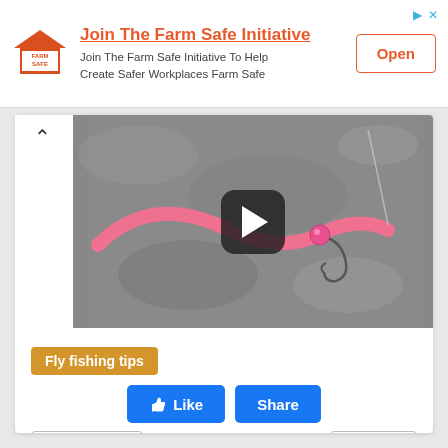[Figure (screenshot): Farm Safe Initiative advertisement banner with orange logo, bold title 'Join The Farm Safe Initiative', subtitle text, and 'Open' button]
[Figure (photo): Video thumbnail showing a pink fishing lure (worm) with a hook on a gray stone surface, with a play button overlay. Video is about fly fishing tips.]
Fly fishing tips
Like  Share
Previous  Next